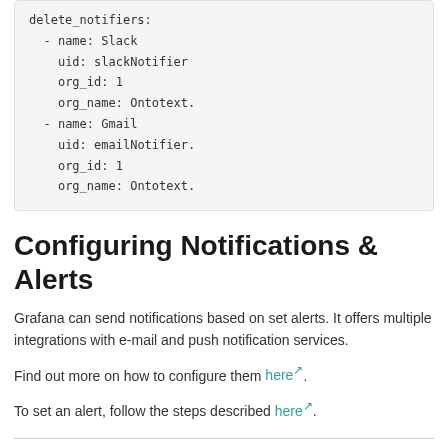delete_notifiers:
  - name: Slack
    uid: slackNotifier
    org_id: 1
    org_name: Ontotext.
  - name: Gmail
    uid: emailNotifier.
    org_id: 1
    org_name: Ontotext.
Configuring Notifications & Alerts
Grafana can send notifications based on set alerts. It offers multiple integrations with e-mail and push notification services.
Find out more on how to configure them here.
To set an alert, follow the steps described here.
Download documentation